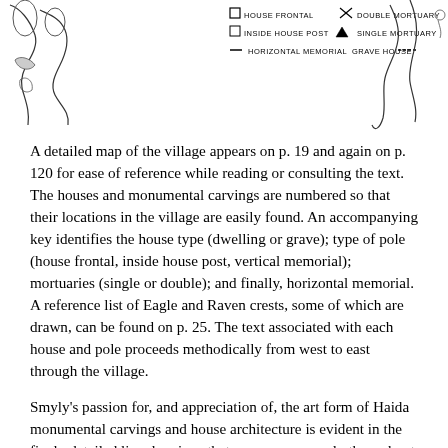[Figure (map): Partial village map with legend showing symbols: House Frontal, Double Mortuary, Inside House Post, Single Mortuary, Horizontal Memorial, Grave House]
A detailed map of the village appears on p. 19 and again on p. 120 for ease of reference while reading or consulting the text. The houses and monumental carvings are numbered so that their locations in the village are easily found. An accompanying key identifies the house type (dwelling or grave); type of pole (house frontal, inside house post, vertical memorial); mortuaries (single or double); and finally, horizontal memorial. A reference list of Eagle and Raven crests, some of which are drawn, can be found on p. 25. The text associated with each house and pole proceeds methodically from west to east through the village.
Smyly's passion for, and appreciation of, the art form of Haida monumental carvings and house architecture is evident in the finely detailed line drawings that appear generously throughout the book. A section of a house frontal pole (p. 37) and the eagle and cormorant inside house post (p. 81) are but two fine examples. All 24 houses are described and their house